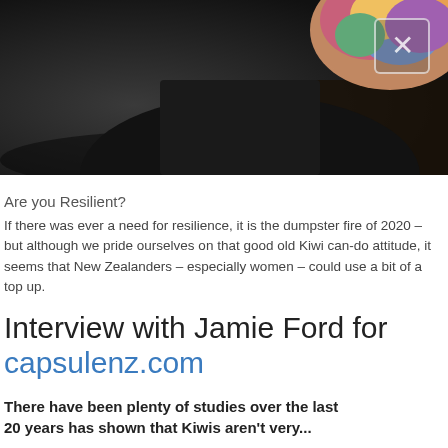[Figure (photo): Dark background photo showing a person in a dark top holding or sitting near a colorful floral/patterned scarf or cushion, with a close button (X) overlay in the top right corner]
Are you Resilient?
If there was ever a need for resilience, it is the dumpster fire of 2020 – but although we pride ourselves on that good old Kiwi can-do attitude, it seems that New Zealanders – especially women – could use a bit of a top up.
Interview with Jamie Ford for capsulenz.com
There have been plenty of studies over the last 20 years has shown that Kiwis aren't very...